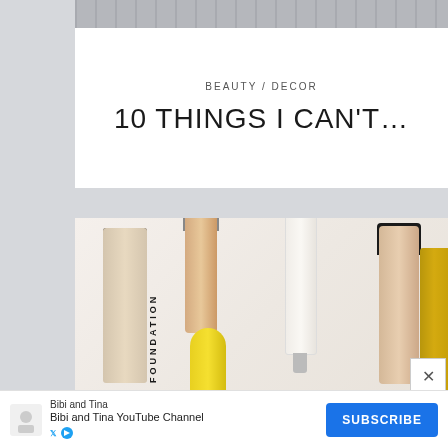[Figure (photo): Partial top photo strip showing decorative items on a surface]
BEAUTY / DECOR
10 THINGS I CAN'T…
[Figure (photo): Beauty product flatlay showing multiple foundation bottles and tubes including a product labeled FOUNDATION, a CC CREAM tube, an IL MAKIAGE bottle, a yellow squeeze tube, and a gold bottle]
[Figure (other): Close button (X) overlay]
Bibi and Tina
Bibi and Tina YouTube Channel
SUBSCRIBE